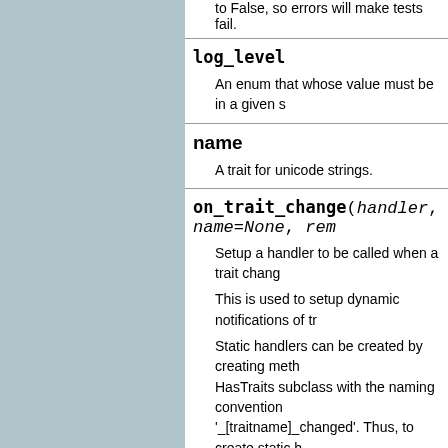to False, so errors will make tests fail.
log_level
An enum that whose value must be in a given s
name
A trait for unicode strings.
on_trait_change(handler, name=None, rem
Setup a handler to be called when a trait chang
This is used to setup dynamic notifications of tr
Static handlers can be created by creating meth HasTraits subclass with the naming convention '_[traitname]_changed'. Thus, to create static h 'a', create the method _a_changed(self, name, arguments can be used, see below).
Parameters   handler : callable
:
A callable that is called wh changes. Its signature ca handler(), handler(name),